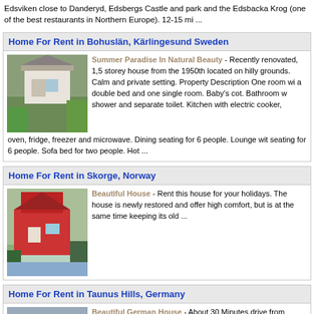Edsviken close to Danderyd, Edsbergs Castle and park and the Edsbacka Krog (one of the best restaurants in Northern Europe). 12-15 mi ...
Home For Rent in Bohuslän, Kärlingesund Sweden
[Figure (photo): Photo of a white cottage-style house with trees and greenery around it]
Summer Paradise In Natural Beauty - Recently renovated, 1,5 storey house from the 1950th located on hilly grounds. Calm and private setting. Property Description One room with a double bed and one single room. Baby's cot. Bathroom with shower and separate toilet. Kitchen with electric cooker, oven, fridge, freezer and microwave. Dining seating for 6 people. Lounge with seating for 6 people. Sofa bed for two people. Hot ...
Home For Rent in Skorge, Norway
[Figure (photo): Photo of a red Scandinavian-style house near water with trees in background]
Beautiful House - Rent this house for your holidays. The house is newly restored and offer high comfort, but is at the same time keeping its old ...
Home For Rent in Taunus Hills, Germany
[Figure (photo): Photo of a multi-storey German house with balconies]
Beautiful German House - About 30 Minutes drive from Frankfurt City Center and about 20 Minutes from Rhein-Main Airport lies this most beautiful, new german house. It is located half way up in the Taunus hills, in direction Airport-Königstein. It has three levels of living space, the first one is a separate apartment with ca. 40 sqm, kitchen, bath and one room and the ...